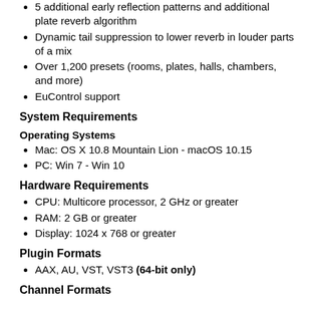5 additional early reflection patterns and additional plate reverb algorithm
Dynamic tail suppression to lower reverb in louder parts of a mix
Over 1,200 presets (rooms, plates, halls, chambers, and more)
EuControl support
System Requirements
Operating Systems
Mac: OS X 10.8 Mountain Lion - macOS 10.15
PC: Win 7 - Win 10
Hardware Requirements
CPU: Multicore processor, 2 GHz or greater
RAM: 2 GB or greater
Display: 1024 x 768 or greater
Plugin Formats
AAX, AU, VST, VST3 (64-bit only)
Channel Formats